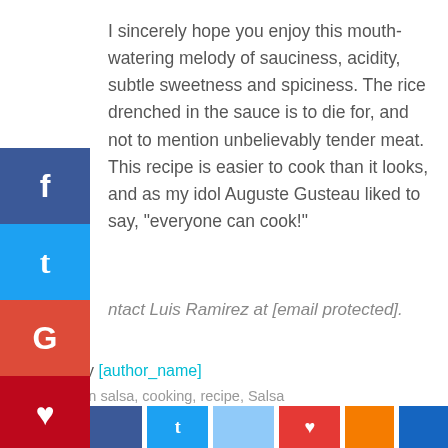I sincerely hope you enjoy this mouth-watering melody of sauciness, acidity, subtle sweetness and spiciness. The rice drenched in the sauce is to die for, and not to mention unbelievably tender meat. This recipe is easier to cook than it looks, and as my idol Auguste Gusteau liked to say, "everyone can cook!"
Contact Luis Ramirez at [email protected].
carne en salsa, cooking, recipe, Salsa
Total
0
Source by [author_name]